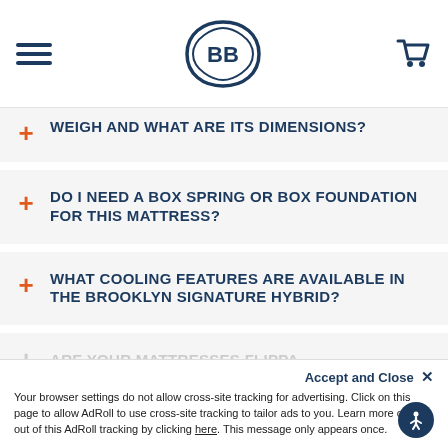[Figure (logo): Brooklyn Bedding BB logo in navy blue decorative frame, hamburger menu icon on left, shopping cart icon on right]
HOW MUCH DOES THE MATTRESS WEIGH AND WHAT ARE ITS DIMENSIONS?
DO I NEED A BOX SPRING OR BOX FOUNDATION FOR THIS MATTRESS?
WHAT COOLING FEATURES ARE AVAILABLE IN THE BROOKLYN SIGNATURE HYBRID?
ARE YOUR MATTRESSES FLIPPA...
Accept and Close ×
Your browser settings do not allow cross-site tracking for advertising. Click on this page to allow AdRoll to use cross-site tracking to tailor ads to you. Learn more or opt out of this AdRoll tracking by clicking here. This message only appears once.